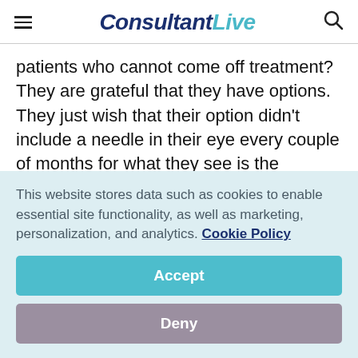ConsultantLive
patients who cannot come off treatment? They are grateful that they have options. They just wish that their option didn’t include a needle in their eye every couple of months for what they see is the foreseeable future. We have drugs, obviously for other conditions in trials now that offer benefits that may be more sustained
This website stores data such as cookies to enable essential site functionality, as well as marketing, personalization, and analytics. Cookie Policy
Accept
Deny